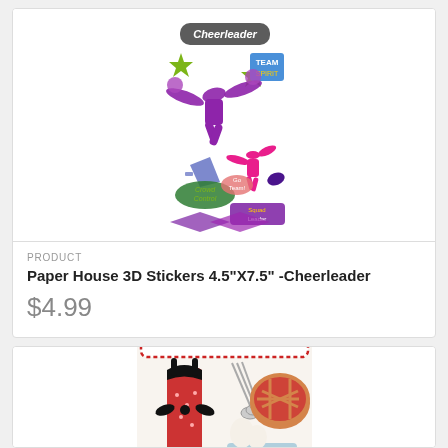[Figure (photo): Paper House 3D Stickers cheerleader themed sticker sheet showing cheerleader figures, stars, pom poms, megaphone, and text embellishments in purple, pink, and green on white background]
PRODUCT
Paper House 3D Stickers 4.5"X7.5" -Cheerleader
$4.99
[Figure (photo): Paper House sticker sheet with 'Happiness is Homemade' theme featuring apron, measuring spoons, pie, eggs, and flower power embellishments in red, teal, and cream colors]